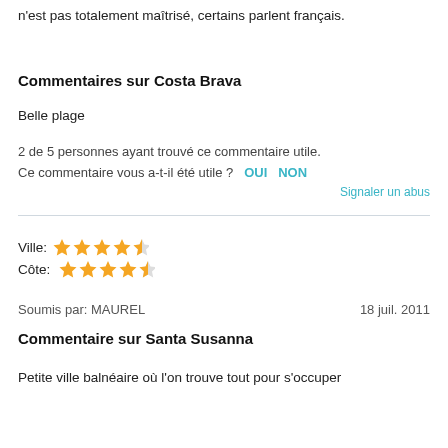n'est pas totalement maîtrisé, certains parlent français.
Commentaires sur Costa Brava
Belle plage
2 de 5 personnes ayant trouvé ce commentaire utile.
Ce commentaire vous a-t-il été utile ?   OUI   NON
Signaler un abus
Ville: ★★★★½
Côte: ★★★★½
Soumis par: MAUREL                                 18 juil. 2011
Commentaire sur Santa Susanna
Petite ville balnéaire où l'on trouve tout pour s'occuper